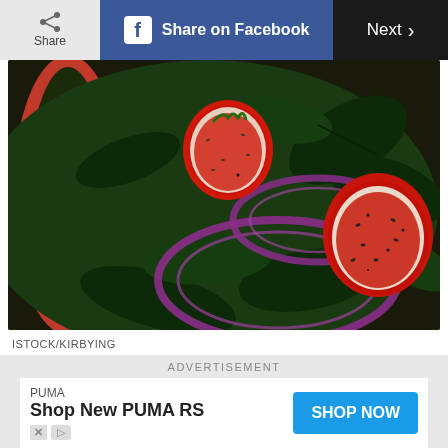Share | Share on Facebook | Next >
[Figure (photo): Close-up photo of a spinach salad in a red bowl with sliced strawberries, red onion rings, and black pepper]
ISTOCK/KIRBYING
Bring back the three-course meal
ADVERTISEMENT
[Figure (other): PUMA advertisement: Shop New PUMA RS with SHOP NOW button]